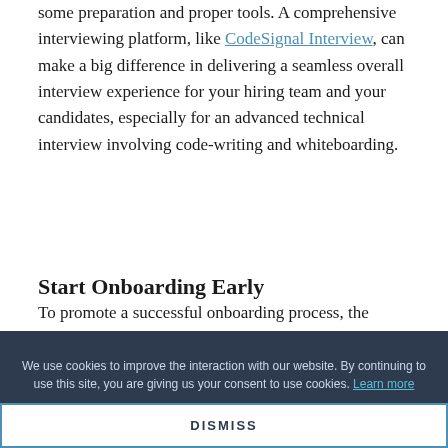some preparation and proper tools. A comprehensive interviewing platform, like CodeSignal Interview, can make a big difference in delivering a seamless overall interview experience for your hiring team and your candidates, especially for an advanced technical interview involving code-writing and whiteboarding.
Start Onboarding Early
To promote a successful onboarding process, the human resources (HR) team can get a
We use cookies to improve the interaction with our website. By continuing to use this site, you are giving us your consent to use cookies. Learn more
DISMISS